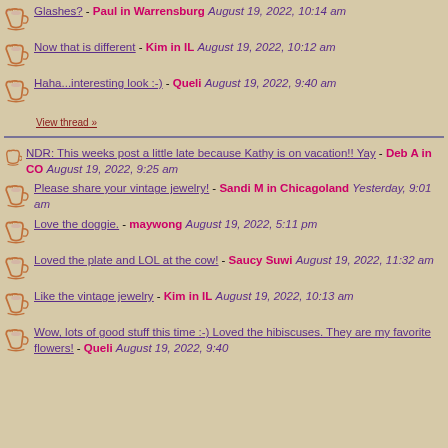Glashes? - Paul in Warrensburg August 19, 2022, 10:14 am
Now that is different - Kim in IL August 19, 2022, 10:12 am
Haha...interesting look :-) - Queli August 19, 2022, 9:40 am
View thread »
NDR: This weeks post a little late because Kathy is on vacation!! Yay - Deb A in CO August 19, 2022, 9:25 am
Please share your vintage jewelry! - Sandi M in Chicagoland Yesterday, 9:01 am
Love the doggie. - maywong August 19, 2022, 5:11 pm
Loved the plate and LOL at the cow! - Saucy Suwi August 19, 2022, 11:32 am
Like the vintage jewelry - Kim in IL August 19, 2022, 10:13 am
Wow, lots of good stuff this time :-) Loved the hibiscuses. They are my favorite flowers! - Queli August 19, 2022, 9:40